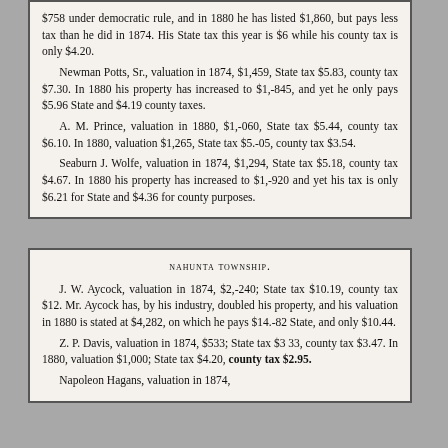$758 under democratic rule, and in 1880 he has listed $1,860, but pays less tax than he did in 1874. His State tax this year is $6 while his county tax is only $4.20.
Newman Potts, Sr., valuation in 1874, $1,459, State tax $5.83, county tax $7.30. In 1880 his property has increased to $1,845, and yet he only pays $5.96 State and $4.19 county taxes.
A. M. Prince, valuation in 1880, $1,060, State tax $5.44, county tax $6.10. In 1880, valuation $1,265, State tax $5.05, county tax $3.54.
Seaburn J. Wolfe, valuation in 1874, $1,294, State tax $5.18, county tax $4.67. In 1880 his property has increased to $1,920 and yet his tax is only $6.21 for State and $4.36 for county purposes.
NAHUNTA TOWNSHIP.
J. W. Aycock, valuation in 1874, $2,240; State tax $10.19, county tax $12. Mr. Aycock has, by his industry, doubled his property, and his valuation in 1880 is stated at $4,282, on which he pays $14.82 State, and only $10.44.
Z. P. Davis, valuation in 1874, $533; State tax $3.33, county tax $3.47. In 1880, valuation $1,000; State tax $4.20, county tax $2.95.
Napoleon Hagans, valuation in 1874,